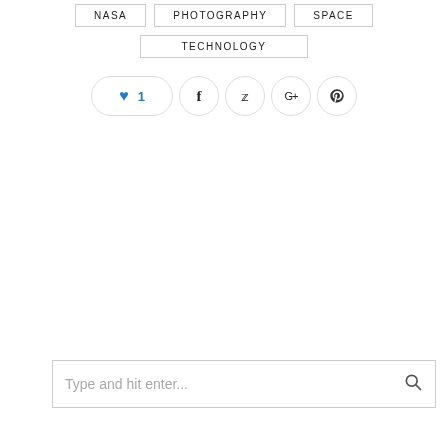NASA
PHOTOGRAPHY
SPACE
TECHNOLOGY
[Figure (screenshot): Social sharing buttons: like button with heart icon and count 1, Facebook, Twitter, Google+, Pinterest]
[Figure (screenshot): Search bar with placeholder text 'Type and hit enter...' and a search icon]